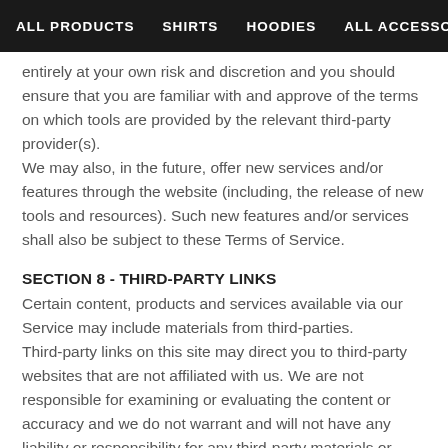ALL PRODUCTS   SHIRTS   HOODIES   ALL ACCESSORIES
entirely at your own risk and discretion and you should ensure that you are familiar with and approve of the terms on which tools are provided by the relevant third-party provider(s).
We may also, in the future, offer new services and/or features through the website (including, the release of new tools and resources). Such new features and/or services shall also be subject to these Terms of Service.
SECTION 8 - THIRD-PARTY LINKS
Certain content, products and services available via our Service may include materials from third-parties.
Third-party links on this site may direct you to third-party websites that are not affiliated with us. We are not responsible for examining or evaluating the content or accuracy and we do not warrant and will not have any liability or responsibility for any third-party materials or